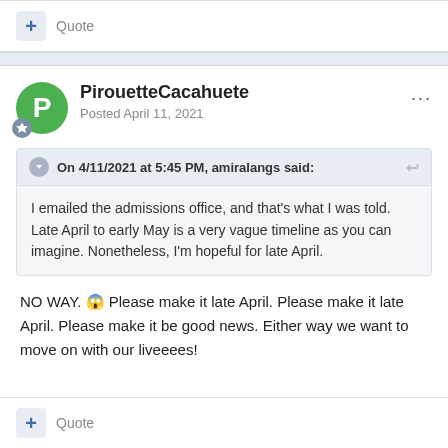+ Quote
PirouetteCacahuete
Posted April 11, 2021
On 4/11/2021 at 5:45 PM, amiralangs said:
I emailed the admissions office, and that's what I was told. Late April to early May is a very vague timeline as you can imagine. Nonetheless, I'm hopeful for late April.
NO WAY. 😱 Please make it late April. Please make it late April. Please make it be good news. Either way we want to move on with our liveeees!
+ Quote